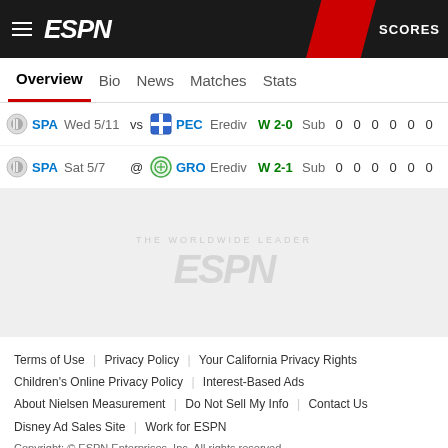ESPN - SCORES
Overview | Bio | News | Matches | Stats
| Team | Date |  | Opp | League | Result | Sub | 0 | 0 | 0 | 0 | 0 | 0 |
| --- | --- | --- | --- | --- | --- | --- | --- | --- | --- | --- | --- | --- |
| SPA | Wed 5/11 | vs | PEC | Erediv | W 2-0 | Sub | 0 | 0 | 0 | 0 | 0 | 0 |
| SPA | Sat 5/7 | @ | GRO | Erediv | W 2-1 | Sub | 0 | 0 | 0 | 0 | 0 | 0 |
[Figure (logo): ESPN watermark logo in light gray on gray background]
Terms of Use | Privacy Policy | Your California Privacy Rights | Children's Online Privacy Policy | Interest-Based Ads | About Nielsen Measurement | Do Not Sell My Info | Contact Us | Disney Ad Sales Site | Work for ESPN
Copyright: © ESPN Enterprises, Inc. All rights reserved.